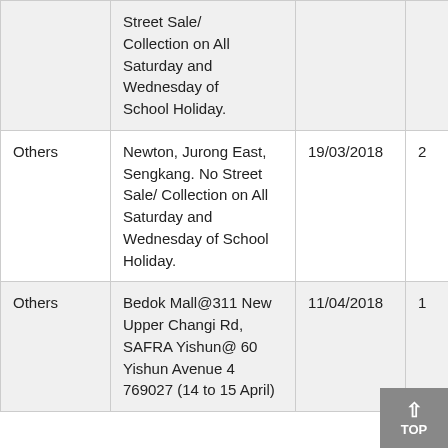| Category | Location/Details | Date |  |
| --- | --- | --- | --- |
|  | Street Sale/ Collection on All Saturday and Wednesday of School Holiday. |  |  |
| Others | Newton, Jurong East, Sengkang. No Street Sale/ Collection on All Saturday and Wednesday of School Holiday. | 19/03/2018 | 2 |
| Others | Bedok Mall@311 New Upper Changi Rd, SAFRA Yishun@ 60 Yishun Avenue 4 769027 (14 to 15 April) | 11/04/2018 | 1 |